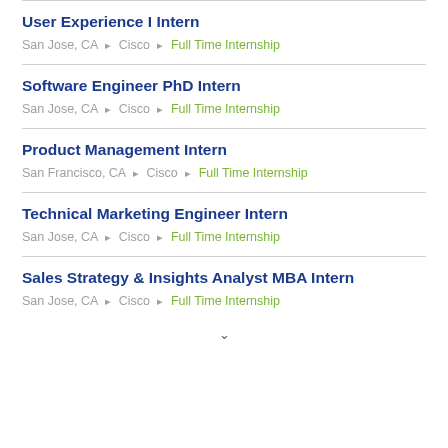User Experience I Intern
San Jose, CA ▶ Cisco ▶ Full Time Internship
Software Engineer PhD Intern
San Jose, CA ▶ Cisco ▶ Full Time Internship
Product Management Intern
San Francisco, CA ▶ Cisco ▶ Full Time Internship
Technical Marketing Engineer Intern
San Jose, CA ▶ Cisco ▶ Full Time Internship
Sales Strategy & Insights Analyst MBA Intern
San Jose, CA ▶ Cisco ▶ Full Time Internship